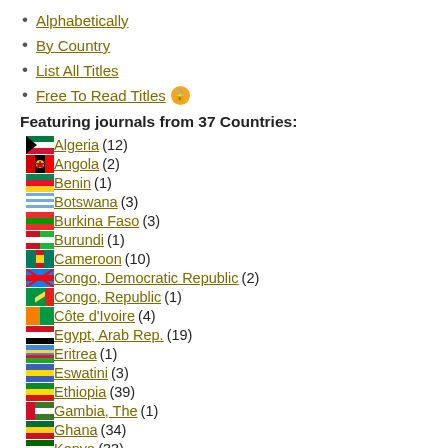Alphabetically
By Country
List All Titles
Free To Read Titles
Featuring journals from 37 Countries:
Algeria (12)
Angola (2)
Benin (1)
Botswana (3)
Burkina Faso (3)
Burundi (1)
Cameroon (10)
Congo, Democratic Republic (2)
Congo, Republic (1)
Côte d'Ivoire (4)
Egypt, Arab Rep. (19)
Eritrea (1)
Eswatini (3)
Ethiopia (39)
Gambia, The (1)
Ghana (34)
Kenya (33)